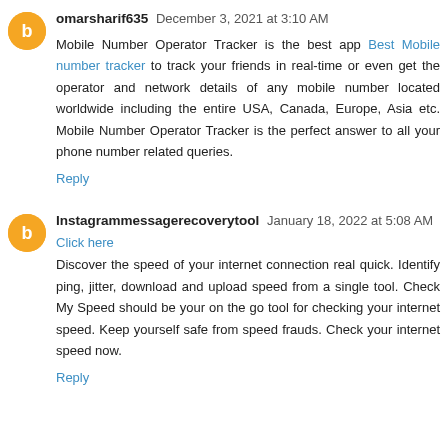omarsharif635 December 3, 2021 at 3:10 AM
Mobile Number Operator Tracker is the best app Best Mobile number tracker to track your friends in real-time or even get the operator and network details of any mobile number located worldwide including the entire USA, Canada, Europe, Asia etc. Mobile Number Operator Tracker is the perfect answer to all your phone number related queries.
Reply
Instagrammessagerecoverytool January 18, 2022 at 5:08 AM
Click here
Discover the speed of your internet connection real quick. Identify ping, jitter, download and upload speed from a single tool. Check My Speed should be your on the go tool for checking your internet speed. Keep yourself safe from speed frauds. Check your internet speed now.
Reply